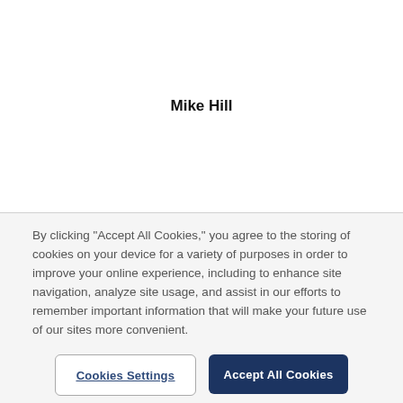Mike Hill
By clicking “Accept All Cookies,” you agree to the storing of cookies on your device for a variety of purposes in order to improve your online experience, including to enhance site navigation, analyze site usage, and assist in our efforts to remember important information that will make your future use of our sites more convenient.
Cookies Settings
Accept All Cookies